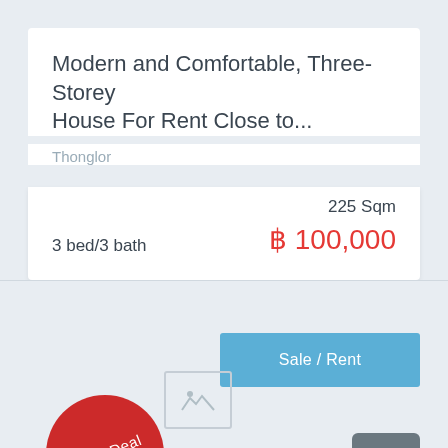Modern and Comfortable, Three-Storey House For Rent Close to...
Thonglor
3 bed/3 bath
225 Sqm
฿ 100,000
Sale / Rent
[Figure (other): Image placeholder icon with mountain/landscape symbol]
Great Deal
[Figure (other): Scroll-to-top button with upward chevron arrow]